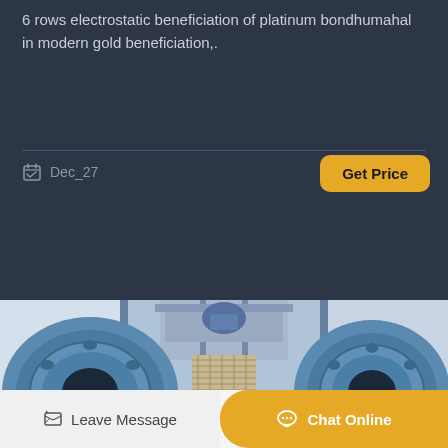6 rows electrostatic beneficiation of platinum bondhumahal in modern gold beneficiation,.
Dec_27
Get Price
[Figure (photo): Industrial ball mills in a processing plant, two large blue cylindrical drum mills viewed from the front end, with grating walkway between them and steel structure/machinery visible above in the background.]
Leave Message
Chat Online